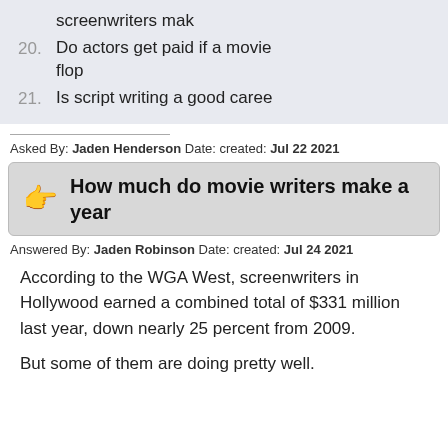screenwriters mak
20. Do actors get paid if a movie flop
21. Is script writing a good caree
Asked By: Jaden Henderson Date: created: Jul 22 2021
How much do movie writers make a year
Answered By: Jaden Robinson Date: created: Jul 24 2021
According to the WGA West, screenwriters in Hollywood earned a combined total of $331 million last year, down nearly 25 percent from 2009.
But some of them are doing pretty well.